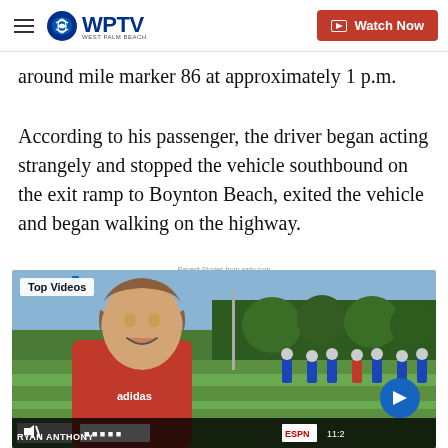WPTV West Palm Beach — Watch Now
around mile marker 86 at approximately 1 p.m.
According to his passenger, the driver began acting strangely and stopped the vehicle southbound on the exit ramp to Boynton Beach, exited the vehicle and began walking on the highway.
Recent Stories from wptv.com
[Figure (screenshot): Video thumbnail labeled 'Top Videos' showing a young man in a red jersey (Ryan Anthony) on a football field with players in blue and white uniforms in the background. An ESPN logo and time code 11:2- appear at the bottom bar. A blue circular arrow button appears in the lower right.]